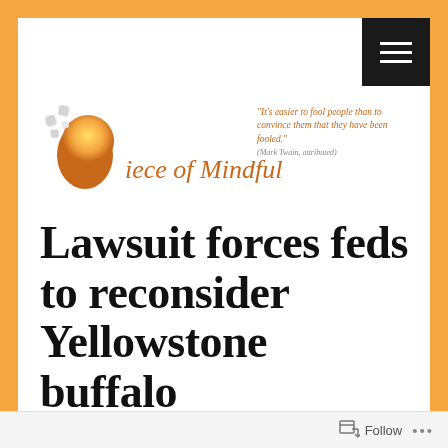[Figure (logo): Piece of Mindful website logo with head/puzzle piece graphic and italic orange text 'iece of Mindful']
"It's easier to fool people than to convince them that they have been fooled." (Mark Twain, attributed)
Lawsuit forces feds to reconsider Yellowstone buffalo management plan
Follow ...